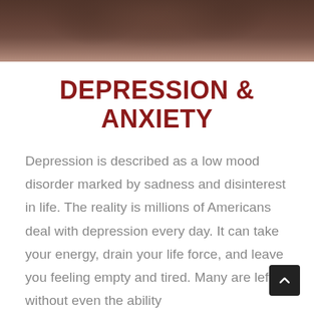[Figure (photo): Dark, muted photo of a person in distress, hands clasped near face, partially visible at the top of the page]
DEPRESSION & ANXIETY
Depression is described as a low mood disorder marked by sadness and disinterest in life. The reality is millions of Americans deal with depression every day. It can take your energy, drain your life force, and leave you feeling empty and tired. Many are left without even the ability